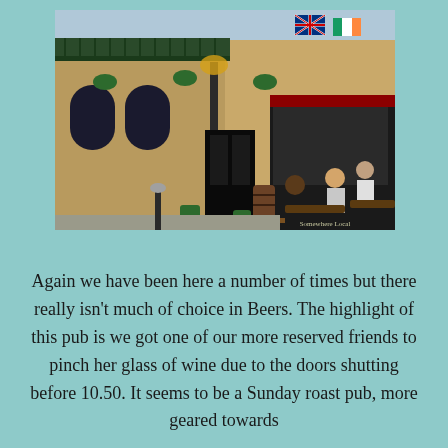[Figure (photo): Exterior photo of a British pub with stone facade, ornate ironwork balconies, hanging flower baskets, national flags including Union Jack and Irish tricolour, a gas lamp, and patrons seated outside at picnic tables in sunny weather.]
Again we have been here a number of times but there really isn't much of choice in Beers. The highlight of this pub is we got one of our more reserved friends to pinch her glass of wine due to the doors shutting before 10.50. It seems to be a Sunday roast pub, more geared towards